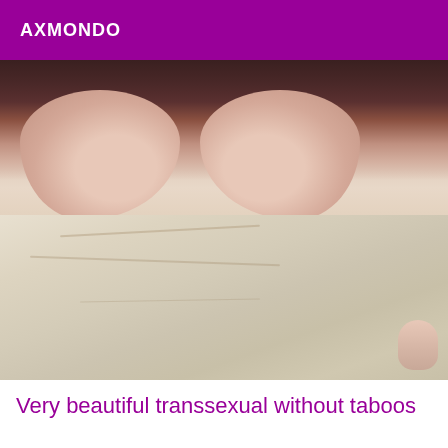AXMONDO
[Figure (photo): A photo showing a person lying on a bed with wrinkled beige/cream sheets, partial body visible from above.]
Very beautiful transsexual without taboos